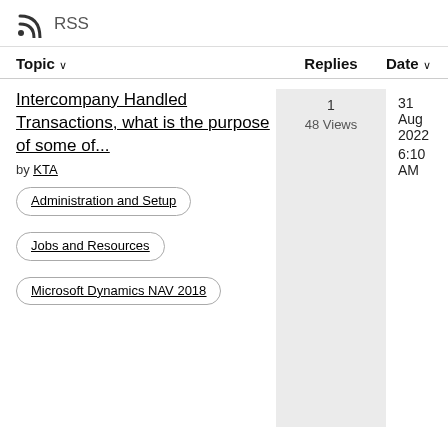RSS
| Topic ↓ | Replies | Date ↓ |
| --- | --- | --- |
| Intercompany Handled Transactions, what is the purpose of some of... by KTA | Administration and Setup | Jobs and Resources | Microsoft Dynamics NAV 2018 | 1
48 Views | 31 Aug 2022
6:10 AM |